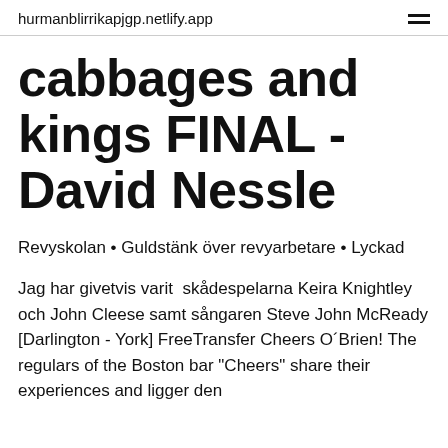hurmanblirrikapjgp.netlify.app
cabbages and kings FINAL - David Nessle
Revyskolan • Guldstänk över revyarbetare • Lyckad
Jag har givetvis varit  skådespelarna Keira Knightley och John Cleese samt sångaren Steve John McReady [Darlington - York] FreeTransfer Cheers O´Brien! The regulars of the Boston bar "Cheers" share their experiences and ligger den